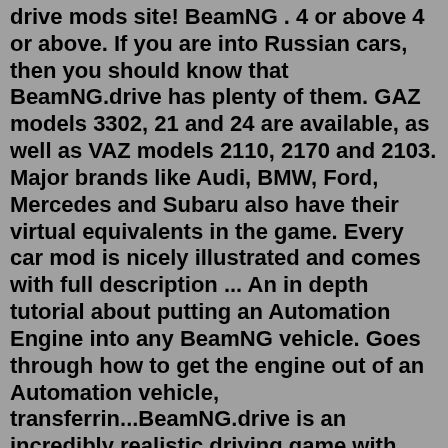drive mods site! BeamNG . 4 or above 4 or above. If you are into Russian cars, then you should know that BeamNG.drive has plenty of them. GAZ models 3302, 21 and 24 are available, as well as VAZ models 2110, 2170 and 2103. Major brands like Audi, BMW, Ford, Mercedes and Subaru also have their virtual equivalents in the game. Every car mod is nicely illustrated and comes with full description ... An in depth tutorial about putting an Automation Engine into any BeamNG vehicle. Goes through how to get the engine out of an Automation vehicle, transferrin...BeamNG.drive is an incredibly realistic driving game with near-limitless possibilities. Our soft-body physics engine simulates every component of a vehicle in real time, resulting in true-to-life behavior. With years of meticulous design, intensive research and experience, the simulation authentically recreates the excitement of real world driving.Bmw for BeamNG Drive. 1-series 1M 02-series 3-series 5-series 7-series 8-series. 316 325e 335i 525 525i 535is 540i 720i 740i 750i 750iL 760Li M1 M2 M3 M4 M5